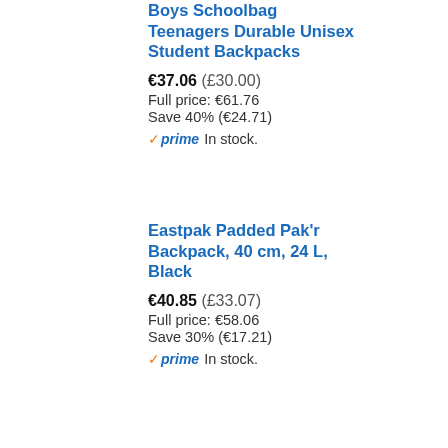Boys Schoolbag Teenagers Durable Unisex Student Backpacks
€37.06 (£30.00)
Full price: €61.76
Save 40% (€24.71)
✓prime In stock.
Eastpak Padded Pak'r Backpack, 40 cm, 24 L, Black
€40.85 (£33.07)
Full price: €58.06
Save 30% (€17.21)
✓prime In stock.